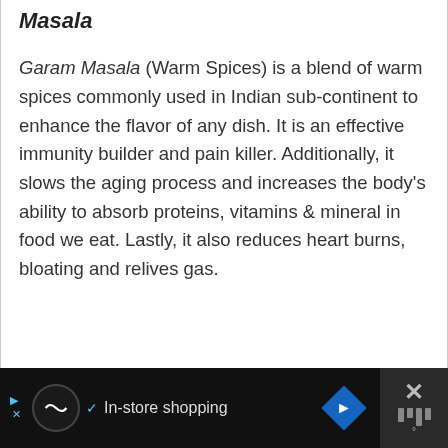Masala
Garam Masala (Warm Spices) is a blend of warm spices commonly used in Indian sub-continent to enhance the flavor of any dish. It is an effective immunity builder and pain killer. Additionally, it slows the aging process and increases the body's ability to absorb proteins, vitamins & mineral in food we eat. Lastly, it also reduces heart burns, bloating and relives gas.
In-store shopping [advertisement bar]